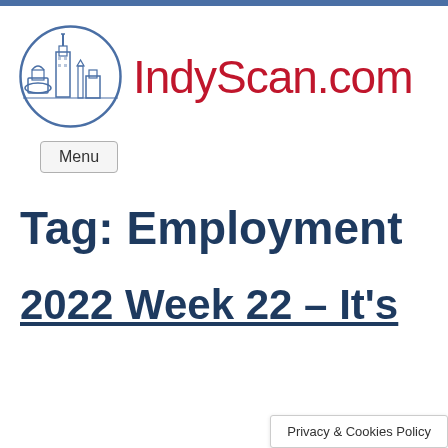[Figure (logo): IndyScan.com website logo: circular emblem with Indianapolis skyline illustration in blue outline, next to red text 'IndyScan.com']
Menu
Tag: Employment
2022 Week 22 – It's
Privacy & Cookies Policy